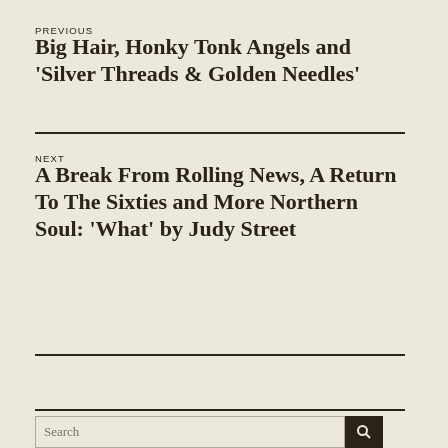PREVIOUS
Big Hair, Honky Tonk Angels and ‘Silver Threads & Golden Needles’
NEXT
A Break From Rolling News, A Return To The Sixties and More Northern Soul: ‘What’ by Judy Street